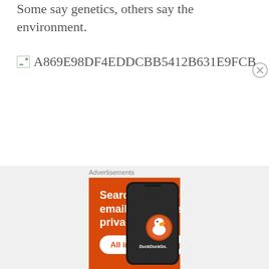Some say genetics, others say the environment.
[Figure (other): Broken image placeholder with hash ID: A869E98DF4EDDCBB5412B631E9FCB]
Advertisements
[Figure (other): DuckDuckGo advertisement banner: Search, browse, and email with more privacy. All in One Free App. DuckDuckGo logo with duck mascot and smartphone image.]